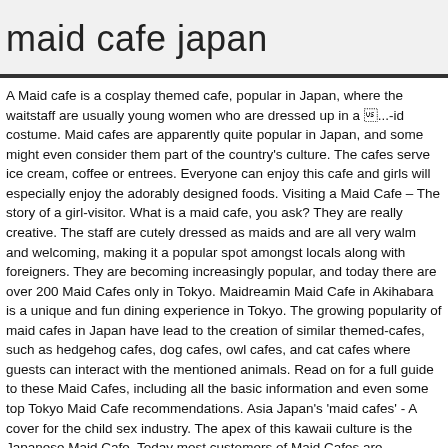maid cafe japan
A Maid cafe is a cosplay themed cafe, popular in Japan, where the waitstaff are usually young women who are dressed up in a maid costume. Maid cafes are apparently quite popular in Japan, and some might even consider them part of the country's culture. The cafes serve ice cream, coffee or entrees. Everyone can enjoy this cafe and girls will especially enjoy the adorably designed foods. Visiting a Maid Cafe – The story of a girl-visitor. What is a maid cafe, you ask? They are really creative. The staff are cutely dressed as maids and are all very walm and welcoming, making it a popular spot amongst locals along with foreigners. They are becoming increasingly popular, and today there are over 200 Maid Cafes only in Tokyo. Maidreamin Maid Cafe in Akihabara is a unique and fun dining experience in Tokyo. The growing popularity of maid cafes in Japan have lead to the creation of similar themed-cafes, such as hedgehog cafes, dog cafes, owl cafes, and cat cafes where guests can interact with the mentioned animals. Read on for a full guide to these Maid Cafes, including all the basic information and even some top Tokyo Maid Cafe recommendations. Asia Japan's 'maid cafes' - A cover for the child sex industry. The apex of this kawaii culture is the Japanese Maid Cafe. Today most customers of Maid Cafes are